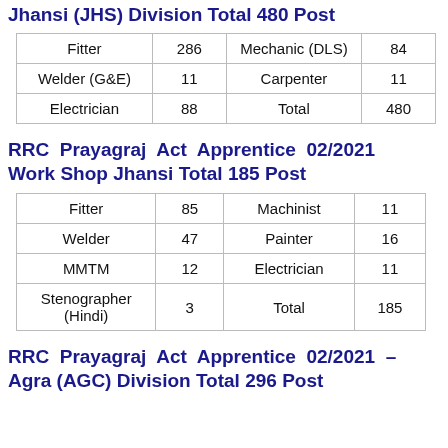Jhansi (JHS) Division Total 480 Post
| Fitter | 286 | Mechanic (DLS) | 84 |
| Welder (G&E) | 11 | Carpenter | 11 |
| Electrician | 88 | Total | 480 |
RRC Prayagraj Act Apprentice 02/2021 Work Shop Jhansi Total 185 Post
| Fitter | 85 | Machinist | 11 |
| Welder | 47 | Painter | 16 |
| MMTM | 12 | Electrician | 11 |
| Stenographer (Hindi) | 3 | Total | 185 |
RRC Prayagraj Act Apprentice 02/2021 – Agra (AGC) Division Total 296 Post